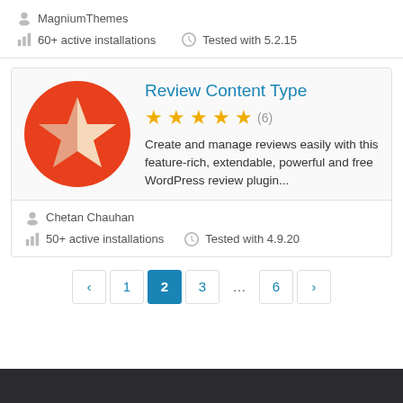MagniumThemes
60+ active installations  Tested with 5.2.15
Review Content Type
★★★★★ (6)
Create and manage reviews easily with this feature-rich, extendable, powerful and free WordPress review plugin...
Chetan Chauhan
50+ active installations  Tested with 4.9.20
‹ 1 2 3 ... 6 ›